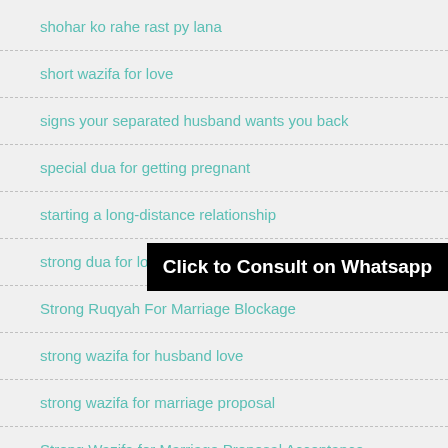shohar ko rahe rast py lana
short wazifa for love
signs your separated husband wants you back
special dua for getting pregnant
starting a long-distance relationship
strong dua for love
Strong Ruqyah For Marriage Blockage
strong wazifa for husband love
strong wazifa for marriage proposal
Strong Wazifa for Marriage Proposal Acceptance